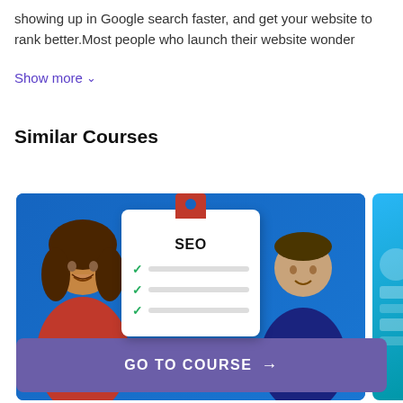showing up in Google search faster, and get your website to rank better.Most people who launch their website wonder
Show more ↓
Similar Courses
[Figure (screenshot): Course card showing SEO checklist with clipboard graphic, two people standing on either side, on a blue background.]
[Figure (screenshot): Partial second course card with cyan/teal background and decorative elements.]
GO TO COURSE →